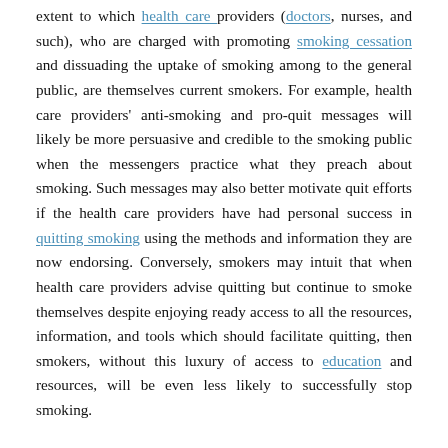extent to which health care providers (doctors, nurses, and such), who are charged with promoting smoking cessation and dissuading the uptake of smoking among to the general public, are themselves current smokers. For example, health care providers' anti-smoking and pro-quit messages will likely be more persuasive and credible to the smoking public when the messengers practice what they preach about smoking. Such messages may also better motivate quit efforts if the health care providers have had personal success in quitting smoking using the methods and information they are now endorsing. Conversely, smokers may intuit that when health care providers advise quitting but continue to smoke themselves despite enjoying ready access to all the resources, information, and tools which should facilitate quitting, then smokers, without this luxury of access to education and resources, will be even less likely to successfully stop smoking.